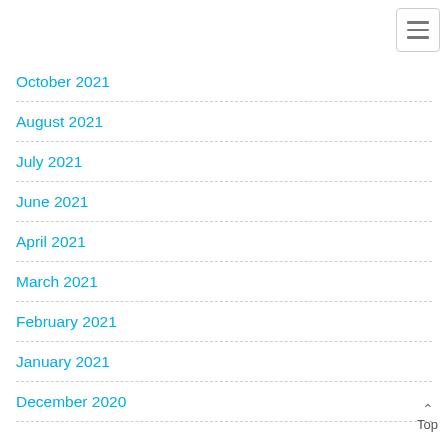October 2021
August 2021
July 2021
June 2021
April 2021
March 2021
February 2021
January 2021
December 2020